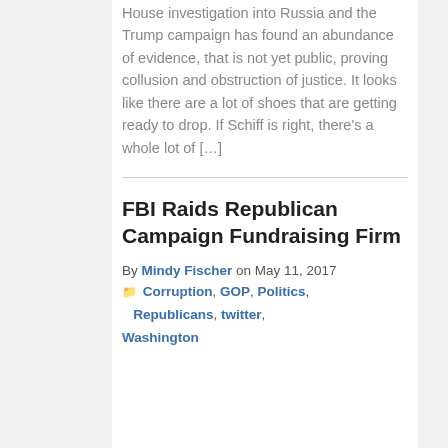House investigation into Russia and the Trump campaign has found an abundance of evidence, that is not yet public, proving collusion and obstruction of justice. It looks like there are a lot of shoes that are getting ready to drop. If Schiff is right, there's a whole lot of […]
FBI Raids Republican Campaign Fundraising Firm
By Mindy Fischer on May 11, 2017 ☐ Corruption, GOP, Politics, Republicans, twitter, Washington